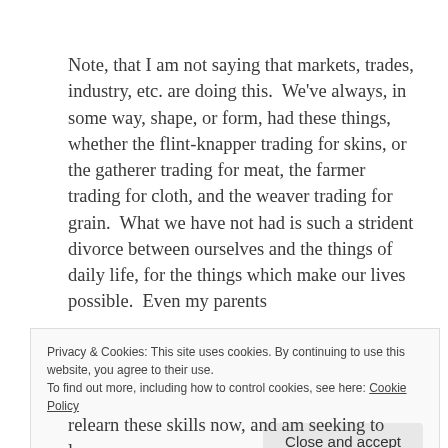Note, that I am not saying that markets, trades, industry, etc. are doing this.  We've always, in some way, shape, or form, had these things, whether the flint-knapper trading for skins, or the gatherer trading for meat, the farmer trading for cloth, and the weaver trading for grain.  What we have not had is such a strident divorce between ourselves and the things of daily life, for the things which make our lives possible.  Even my parents
Privacy & Cookies: This site uses cookies. By continuing to use this website, you agree to their use.
To find out more, including how to control cookies, see here: Cookie Policy
relearn these skills now, and am seeking to learn more,